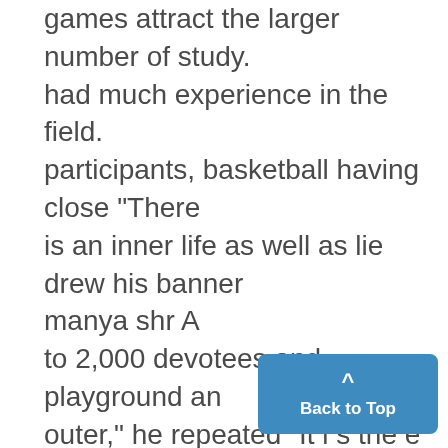games attract the larger number of study. had much experience in the field. participants, basketball having close "There is an inner life as well as lie drew his banner manya shr A to 2,000 devotees and playground an outer," he repeated "It i s the e drew to his banner many ml- ball 1,500. Swimming was close to the human task to keep the two in the contents and at one time had more thousand mark, right relation to each other. It is than 1,000 men , under him Favor Management Change the